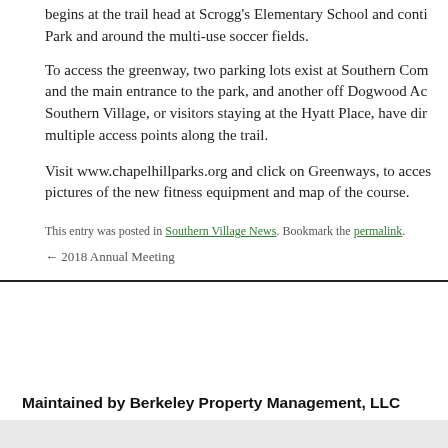begins at the trail head at Scrogg's Elementary School and conti… Park and around the multi-use soccer fields.
To access the greenway, two parking lots exist at Southern Com… and the main entrance to the park, and another off Dogwood Ac… Southern Village, or visitors staying at the Hyatt Place, have dir… multiple access points along the trail.
Visit www.chapelhillparks.org and click on Greenways, to acces… pictures of the new fitness equipment and map of the course.
This entry was posted in Southern Village News. Bookmark the permalink.
← 2018 Annual Meeting
Maintained by Berkeley Property Management, LLC